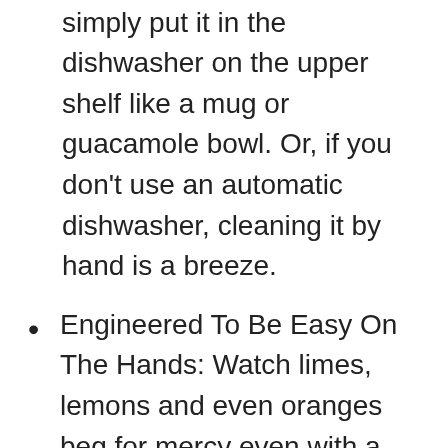in your food or cocktail and simply put it in the dishwasher on the upper shelf like a mug or guacamole bowl. Or, if you don't use an automatic dishwasher, cleaning it by hand is a breeze.
Engineered To Be Easy On The Hands: Watch limes, lemons and even oranges beg for mercy even with a soft squeeze of the hand. If you are used to hand-squeezing citrus, you will be truly amazed at how easy it is to use this professional lemon squeezer